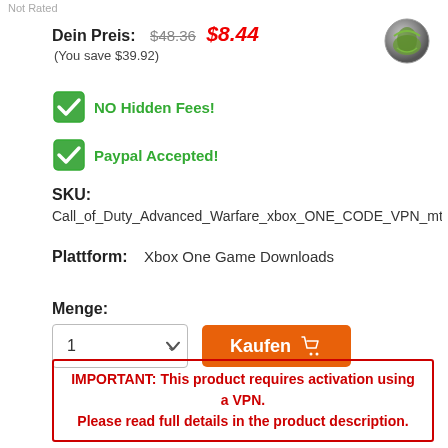Not Rated
Dein Preis: $48.36 $8.44
(You save $39.92)
NO Hidden Fees!
Paypal Accepted!
SKU:
Call_of_Duty_Advanced_Warfare_xbox_ONE_CODE_VPN_mtc
Plattform:    Xbox One Game Downloads
Menge:
Kaufen
IMPORTANT: This product requires activation using a VPN.
Please read full details in the product description.